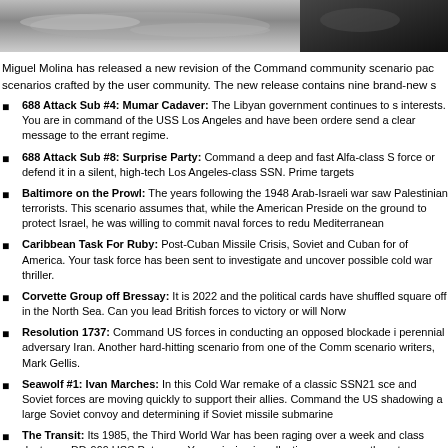[Figure (photo): Two grayscale photographs side by side at the top of the page — left shows an aerial or sea scene, right shows a darker image.]
Miguel Molina has released a new revision of the Command community scenario pack scenarios crafted by the user community. The new release contains nine brand-new s
688 Attack Sub #4: Mumar Cadaver: The Libyan government continues to s interests. You are in command of the USS Los Angeles and have been ordere send a clear message to the errant regime.
688 Attack Sub #8: Surprise Party: Command a deep and fast Alfa-class S force or defend it in a silent, high-tech Los Angeles-class SSN. Prime targets
Baltimore on the Prowl: The years following the 1948 Arab-Israeli war saw Palestinian terrorists. This scenario assumes that, while the American Preside on the ground to protect Israel, he was willing to commit naval forces to redu Mediterranean
Caribbean Task For Ruby: Post-Cuban Missile Crisis, Soviet and Cuban for of America. Your task force has been sent to investigate and uncover possible cold war thriller.
Corvette Group off Bressay: It is 2022 and the political cards have shuffled square off in the North Sea. Can you lead British forces to victory or will Norw
Resolution 1737: Command US forces in conducting an opposed blockade i perennial adversary Iran. Another hard-hitting scenario from one of the Comm scenario writers, Mark Gellis.
Seawolf #1: Ivan Marches: In this Cold War remake of a classic SSN21 sce and Soviet forces are moving quickly to support their allies. Command the US shadowing a large Soviet convoy and determining if Soviet missile submarine
The Transit: Its 1985, the Third World War has been raging over a week and class destroyer DD-969 USS Peterson. Your mission is collecting your convo them to Bordeaux France.